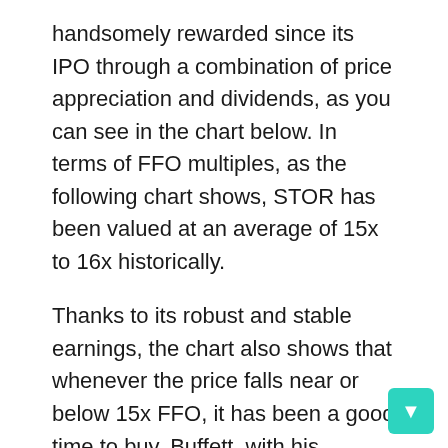handsomely rewarded since its IPO through a combination of price appreciation and dividends, as you can see in the chart below. In terms of FFO multiples, as the following chart shows, STOR has been valued at an average of 15x to 16x historically.
Thanks to its robust and stable earnings, the chart also shows that whenever the price falls near or below 15x FFO, it has been a good time to buy. Buffett, with his extraordinary investment acumen, bought his shares at nearly 13.3x FFO in 2017 and 13.2x FFO in 2020 respectively, as the chart shows. It is difficult not to make a good profit on such transactions.